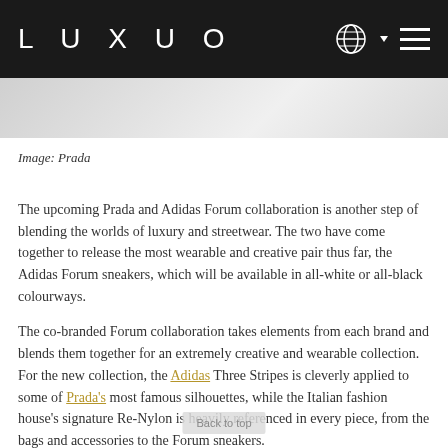LUXUO
[Figure (photo): Partial view of a Prada x Adidas Forum sneaker or product, shown in grayscale/light tones]
Image: Prada
The upcoming Prada and Adidas Forum collaboration is another step of blending the worlds of luxury and streetwear. The two have come together to release the most wearable and creative pair thus far, the Adidas Forum sneakers, which will be available in all-white or all-black colourways.
The co-branded Forum collaboration takes elements from each brand and blends them together for an extremely creative and wearable collection. For the new collection, the Adidas Three Stripes is cleverly applied to some of Prada's most famous silhouettes, while the Italian fashion house's signature Re-Nylon is heavily referenced in every piece, from the bags and accessories to the Forum sneakers.